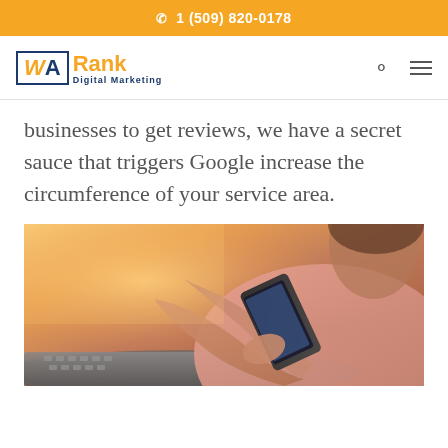1 (509) 820-0178
[Figure (logo): WA Rank Digital Marketing logo — WA in a bordered box with orange W and blue A, followed by orange 'Rank' and blue 'Digital Marketing' subtitle]
businesses to get reviews, we have a secret sauce that triggers Google increase the circumference of your service area.
[Figure (photo): Person in a pink/salmon top using a smartphone, with a laptop keyboard visible in the foreground, warm orange/sunlit lighting]